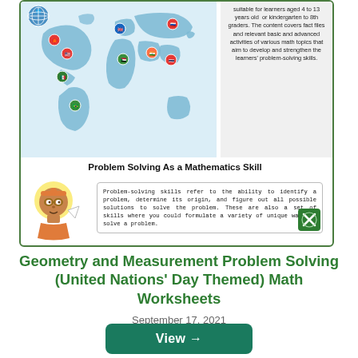[Figure (infographic): Educational infographic card showing a world map with country flag pins (Canada, UK, USA, Mexico, Russia, India, Sudan, Thailand, Brazil), a UN logo, and a cartoon character with a speech bubble explaining problem-solving skills. Right panel contains text about content for learners aged 4 to 13 years old.]
suitable for learners aged 4 to 13 years old or kindergarten to 8th graders. The content covers fact files and relevant basic and advanced activities of various math topics that aim to develop and strengthen the learners' problem-solving skills.
Problem Solving As a Mathematics Skill
Problem-solving skills refer to the ability to identify a problem, determine its origin, and figure out all possible solutions to solve the problem. These are also a set of skills where you could formulate a variety of unique ways to solve a problem.
Geometry and Measurement Problem Solving (United Nations' Day Themed) Math Worksheets
September 17, 2021
View →